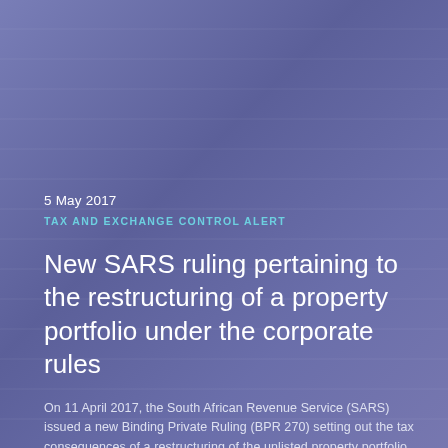5 May 2017
TAX AND EXCHANGE CONTROL ALERT
New SARS ruling pertaining to the restructuring of a property portfolio under the corporate rules
On 11 April 2017, the South African Revenue Service (SARS) issued a new Binding Private Ruling (BPR 270) setting out the tax consequences of a restructuring of the unlisted property portfolio of a long-term insurer in terms of s42 of the Income Tax Act, No 58 of 1962 (ITA).